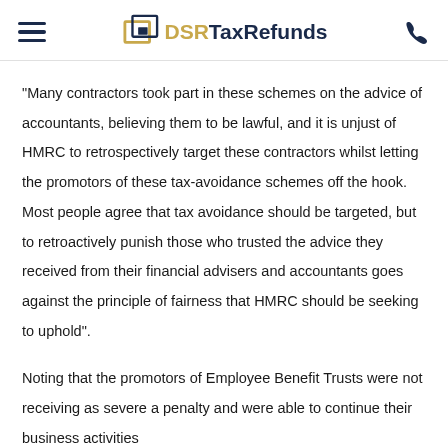DSR TaxRefunds
“Many contractors took part in these schemes on the advice of accountants, believing them to be lawful, and it is unjust of HMRC to retrospectively target these contractors whilst letting the promotors of these tax-avoidance schemes off the hook. Most people agree that tax avoidance should be targeted, but to retroactively punish those who trusted the advice they received from their financial advisers and accountants goes against the principle of fairness that HMRC should be seeking to uphold”.
Noting that the promotors of Employee Benefit Trusts were not receiving as severe a penalty and were able to continue their business activities